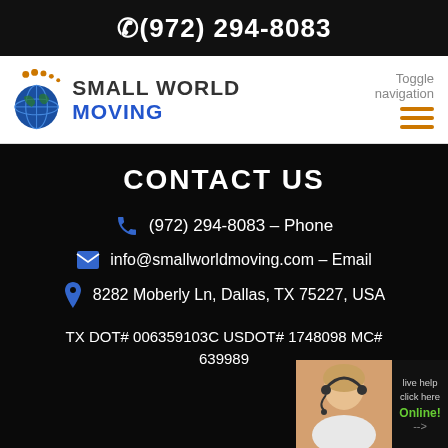(972) 294-8083
[Figure (logo): Small World Moving logo with globe icon and footprints, company name SMALL WORLD MOVING with MOVING in blue]
Toggle navigation
CONTACT US
(972) 294-8083 - Phone
info@smallworldmoving.com - Email
8282 Moberly Ln, Dallas, TX 75227, USA
TX DOT# 006359103C USDOT# 1748098 MC# 639989
[Figure (photo): Live help chat widget with woman wearing headset, text: live help click here Online!]